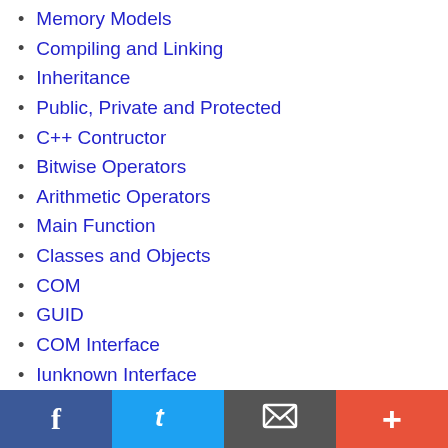Memory Models
Compiling and Linking
Inheritance
Public, Private and Protected
C++ Contructor
Bitwise Operators
Arithmetic Operators
Main Function
Classes and Objects
COM
GUID
COM Interface
Iunknown Interface
f | Twitter | Email | +